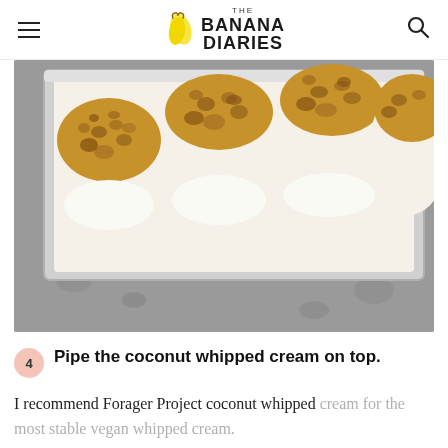THE BANANA DIARIES
[Figure (photo): Overhead view of a metal baking pan containing banana pudding cups with toasted golden-brown coconut or crumble topping, placed on a gray surface]
4 Pipe the coconut whipped cream on top.
I recommend Forager Project coconut whipped cream for the most stable vegan whipped cream.